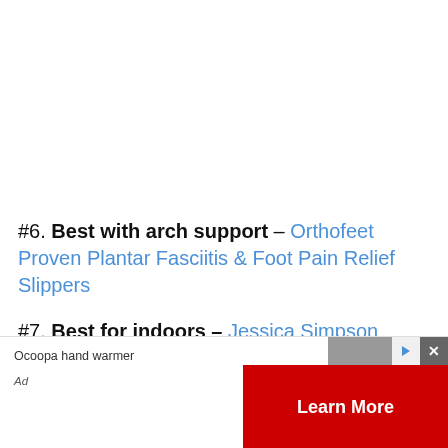#6. Best with arch support – Orthofeet Proven Plantar Fasciitis & Foot Pain Relief Slippers
#7. Best for indoors – Jessica Simpson Women's Micro Suede Moccasin Slippers
[Figure (other): Advertisement banner for Ocoopa hand warmer with a red 'Learn More' button and ad close controls]